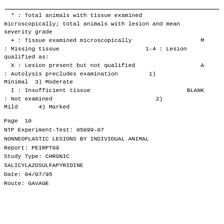* : Total animals with tissue examined microscopically; total animals with lesion and mean severity grade
  + : Tissue examined microscopically                    M : Missing tissue                         1-4 : Lesion qualified as:
  X : Lesion present but not qualified                   A : Autolysis precludes examination        1) Minimal  3) Moderate
  I : Insufficient tissue                           BLANK : Not examined                           2) Mild     4) Marked
Page  10
NTP Experiment-Test: 05099-07
NONNEOPLASTIC LESIONS BY INDIVIDUAL ANIMAL
Report: PEIRPT09
Study Type: CHRONIC
SALICYLAZOSULFAPYRIDINE
Date: 04/07/95
Route: GAVAGE